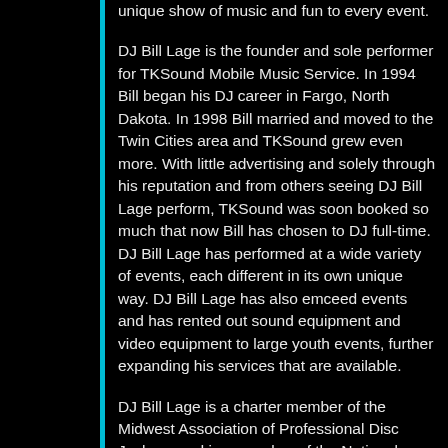unique show of music and fun to every event.
DJ Bill Lage is the founder and sole performer for TKSound Mobile Music Service. In 1994 Bill began his DJ career in Fargo, North Dakota. In 1998 Bill married and moved to the Twin Cities area and TKSound grew even more. With little advertising and solely through his reputation and from others seeing DJ Bill Lage perform, TKSound was soon booked so much that now Bill has chosen to DJ full-time. DJ Bill Lage has performed at a wide variety of events, each different in its own unique way. DJ Bill Lage has also emceed events and has rented out sound equipment and video equipment to large youth events, further expanding his services that are available.
DJ Bill Lage is a charter member of the Midwest Association of Professional Disc Jockeys and is a member of the National Association of Mobile